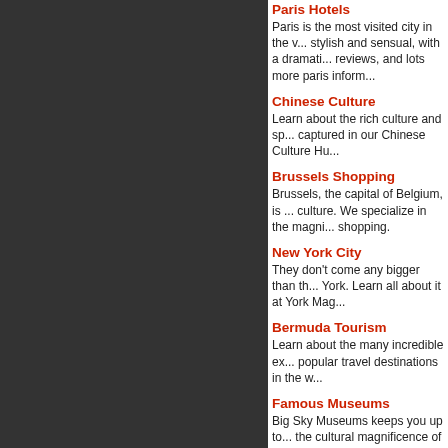Paris Hotels
Paris is the most visited city in the w... stylish and sensual, with a dramatic... reviews, and lots more paris inform...
Chinese Culture
Learn about the rich culture and sp... captured in our Chinese Culture Hu...
Brussels Shopping
Brussels, the capital of Belgium, is ... culture. We specialize in the magni... shopping.
New York City
They don't come any bigger than th... York. Learn all about it at York Mag...
Bermuda Tourism
Learn about the many incredible ex... popular travel destinations in the wo...
Famous Museums
Big Sky Museums keeps you up to... the cultural magnificence of museu...
Travel Tips
Vacations should be a time spent h... great travel and vacation tips and in...
Motel Reviews
Get the right Motel every time with ... confidence in knowing the right plac...
Queens News
Queens is an exciting place to live e... American city.
Dallas